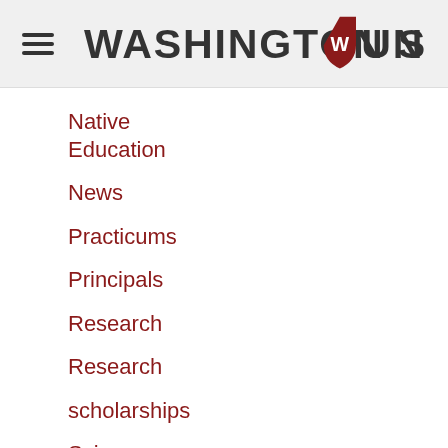Washington State University
Native Education
News
Practicums
Principals
Research
Research
scholarships
Science
SPED
Sport Management
Sport Science